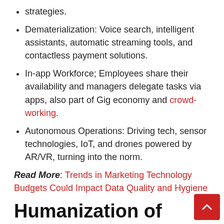strategies.
Dematerialization: Voice search, intelligent assistants, automatic streaming tools, and contactless payment solutions.
In-app Workforce; Employees share their availability and managers delegate tasks via apps, also part of Gig economy and crowd-working.
Autonomous Operations: Driving tech, sensor technologies, IoT, and drones powered by AR/VR, turning into the norm.
Read More: Trends in Marketing Technology Budgets Could Impact Data Quality and Hygiene
Humanization of Technology
Almost all first-world countries are prepared for the "Fourth Industrial Revolution". For example, the